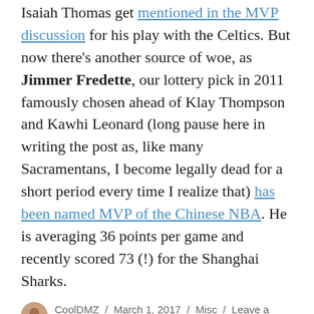Isaiah Thomas get mentioned in the MVP discussion for his play with the Celtics. But now there's another source of woe, as Jimmer Fredette, our lottery pick in 2011 famously chosen ahead of Klay Thompson and Kawhi Leonard (long pause here in writing the post as, like many Sacramentans, I become legally dead for a short period every time I realize that) has been named MVP of the Chinese NBA. He is averaging 36 points per game and recently scored 73 (!) for the Shanghai Sharks.
CoolDMZ / March 1, 2017 / Misc / Leave a comment
Local standup JR De Guzman wins NBC